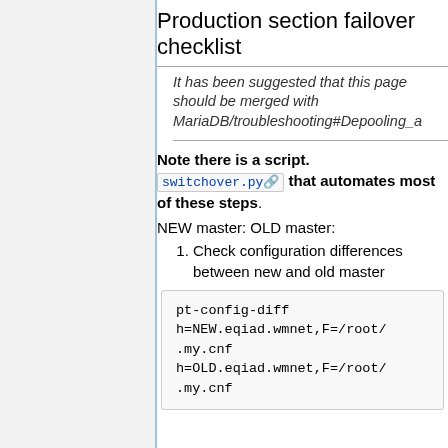Production section failover checklist
It has been suggested that this page should be merged with MariaDB/troubleshooting#Depooling_a
Note there is a script. switchover.py that automates most of these steps.
NEW master: OLD master:
Check configuration differences between new and old master
pt-config-diff h=NEW.eqiad.wmnet,F=/root/.my.cnf h=OLD.eqiad.wmnet,F=/root/.my.cnf